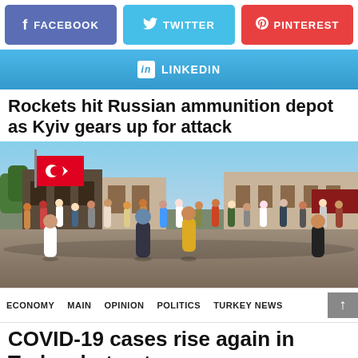[Figure (infographic): Social share buttons: Facebook (blue-purple), Twitter (light blue), Pinterest (red)]
[Figure (infographic): LinkedIn share button (blue gradient)]
Rockets hit Russian ammunition depot as Kyiv gears up for attack
[Figure (photo): Crowd of people in a public square or market area, Turkish flag visible on a building in the background. Istanbul street scene.]
ECONOMY   MAIN   OPINION   POLITICS   TURKEY NEWS
COVID-19 cases rise again in Turkey but not